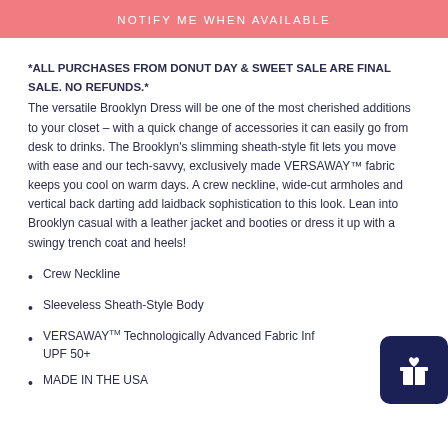NOTIFY ME WHEN AVAILABLE
*ALL PURCHASES FROM DONUT DAY & SWEET SALE ARE FINAL SALE. NO REFUNDS.*
The versatile Brooklyn Dress will be one of the most cherished additions to your closet – with a quick change of accessories it can easily go from desk to drinks. The Brooklyn's slimming sheath-style fit lets you move with ease and our tech-savvy, exclusively made VERSAWAY™ fabric keeps you cool on warm days. A crew neckline, wide-cut armholes and vertical back darting add laidback sophistication to this look. Lean into Brooklyn casual with a leather jacket and booties or dress it up with a swingy trench coat and heels!
Crew Neckline
Sleeveless Sheath-Style Body
VERSAWAY TM Technologically Advanced Fabric Inf UPF 50+
MADE IN THE USA